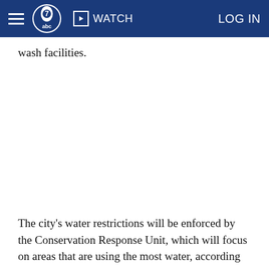ABC7 WATCH LOG IN
wash facilities.
The city's water restrictions will be enforced by the Conservation Response Unit, which will focus on areas that are using the most water, according to DWP